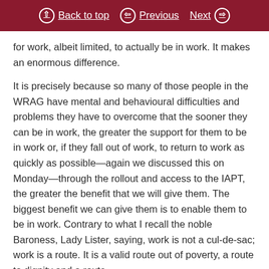Back to top | Previous | Next
for work, albeit limited, to actually be in work. It makes an enormous difference.
It is precisely because so many of those people in the WRAG have mental and behavioural difficulties and problems they have to overcome that the sooner they can be in work, the greater the support for them to be in work or, if they fall out of work, to return to work as quickly as possible—again we discussed this on Monday—through the rollout and access to the IAPT, the greater the benefit that we will give them. The biggest benefit we can give them is to enable them to be in work. Contrary to what I recall the noble Baroness, Lady Lister, saying, work is not a cul-de-sac; work is a route. It is a valid route out of poverty, a route to dignity and a route